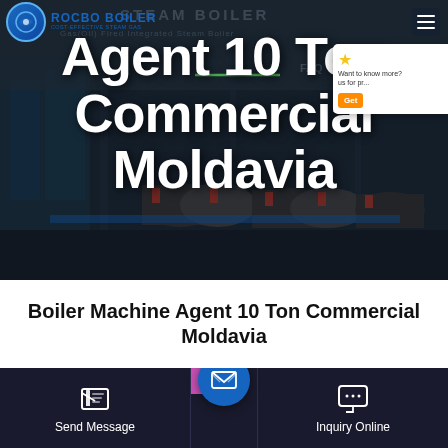[Figure (screenshot): Hero banner showing ROCBO BOILER website with industrial steam boiler image in background and overlaid large white text]
Agent 10 Ton Commercial Moldavia
Boiler Machine Agent 10 Ton Commercial Moldavia
[Figure (screenshot): Bottom navigation bar with Save Stickers on WhatsApp banner, Send Message button, email FAB, and Inquiry Online button]